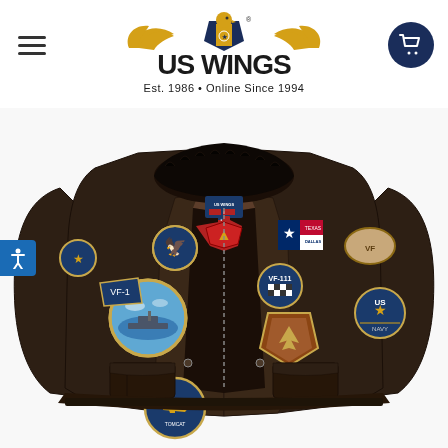US Wings - Est. 1986 · Online Since 1994
[Figure (photo): A brown leather aviator jacket (Top Gun style G-1 flight jacket) displayed open, showing dark fur collar and multiple military/aviation patches on the front and sleeves. The jacket label reads US Wings. Various patches include aircraft, ships, eagles, and unit insignia in red, blue, green, tan colors.]